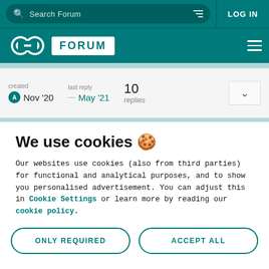Search Forum | LOG IN
FORUM
created Nov '20  last reply — May '21  10 replies
We use cookies 🍪
Our websites use cookies (also from third parties) for functional and analytical purposes, and to show you personalised advertisement. You can adjust this in Cookie Settings or learn more by reading our cookie policy.
ONLY REQUIRED
ACCEPT ALL